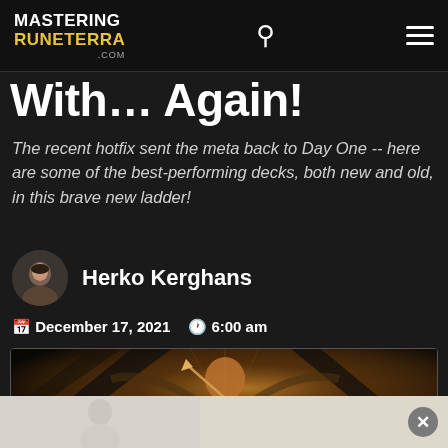MASTERING RUNETERRA .com
With… Again!
The recent hotfix sent the meta back to Day One -- here are some of the best-performing decks, both new and old, in this brave new ladder!
Herko Kerghans
December 17, 2021   6:00 am
[Figure (illustration): Fantasy game art showing a warrior character with wings in a golden-lit scene]
[Figure (illustration): Advertisement overlay banner at the bottom of the page with a close (X) button]